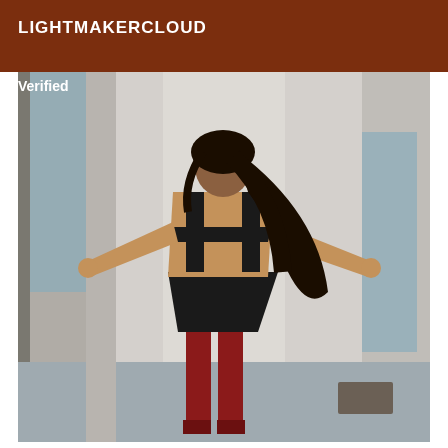LIGHTMAKERCLOUD
Verified
[Figure (photo): A woman standing in a hallway viewed from behind, wearing a black crop top and shorts with red thigh-high stockings, arms outstretched touching both walls, with long dark hair.]